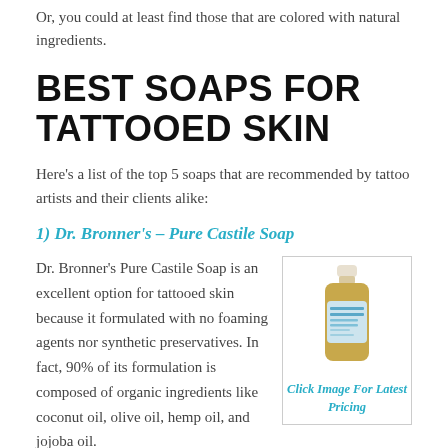Or, you could at least find those that are colored with natural ingredients.
BEST SOAPS FOR TATTOOED SKIN
Here's a list of the top 5 soaps that are recommended by tattoo artists and their clients alike:
1) Dr. Bronner's – Pure Castile Soap
Dr. Bronner's Pure Castile Soap is an excellent option for tattooed skin because it formulated with no foaming agents nor synthetic preservatives. In fact, 90% of its formulation is composed of organic ingredients like coconut oil, olive oil, hemp oil, and jojoba oil.
[Figure (photo): A bottle of Dr. Bronner's Pure Castile Soap (baby/unscented, light blue label)]
Click Image For Latest Pricing